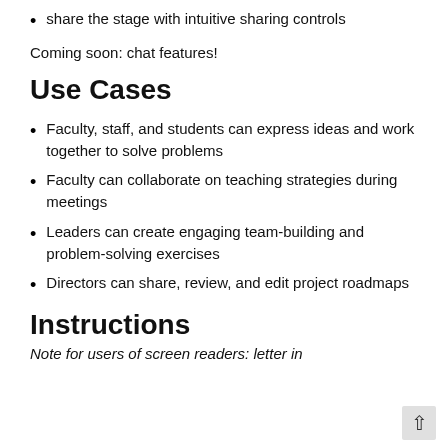share the stage with intuitive sharing controls
Coming soon: chat features!
Use Cases
Faculty, staff, and students can express ideas and work together to solve problems
Faculty can collaborate on teaching strategies during meetings
Leaders can create engaging team-building and problem-solving exercises
Directors can share, review, and edit project roadmaps
Instructions
Note for users of screen readers: letter in